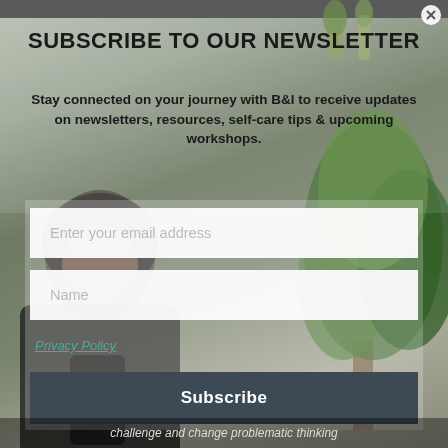SUBSCRIBE TO OUR NEWSLETTER
Stay connected on your journey with B&I to receive updates on newsletters, resources, self-care tips & upcoming workshops.
Enter your email address
Name
Privacy Policy
Subscribe
challenge and change problematic thinking